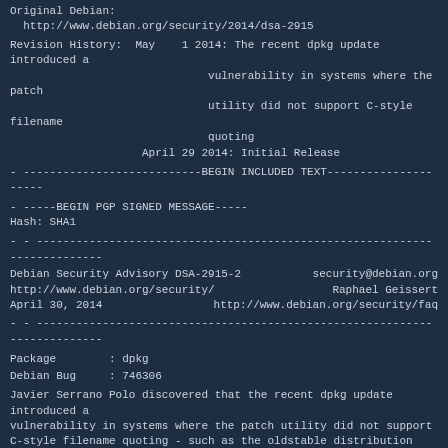Original Debian:
  http://www.debian.org/security/2014/dsa-2915
Revision History:  May    1 2014: The recent dpkg update introduced a vulnerability in systems where the patch utility did not support C-style filename quoting
                   April 29 2014: Initial Release
- ---------------------------BEGIN INCLUDED TEXT---------------------
- -----BEGIN PGP SIGNED MESSAGE-----
Hash: SHA1
- - --------------------------------------------------------------------------
Debian Security Advisory DSA-2915-2                  security@debian.org
http://www.debian.org/security/                        Raphael Geissert
April 30, 2014                                http://www.debian.org/security/faq
- - --------------------------------------------------------------------------
Package        : dpkg
Debian Bug     : 746306
Javier Serrano Polo discovered that the recent dpkg update introduced a vulnerability in systems where the patch utility did not support C-style filename quoting - such as the oldstable distribution (squeeze). This revision of dpkg instead refuses to process patches with C-style filename quoting altogether.
For reference, the original text of DSA-2915-1 is reproduced below:
Jakub Wilk discovered that dpkg did not correctly parse C-style filename quoting, allowing for paths to be traversed when unpacking a